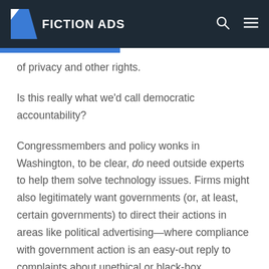FICTION ADS
of privacy and other rights.
Is this really what we'd call democratic accountability?
Congressmembers and policy wonks in Washington, to be clear, do need outside experts to help them solve technology issues. Firms might also legitimately want governments (or, at least, certain governments) to direct their actions in areas like political advertising—where compliance with government action is an easy-out reply to complaints about unethical or black-box decisionmaking.